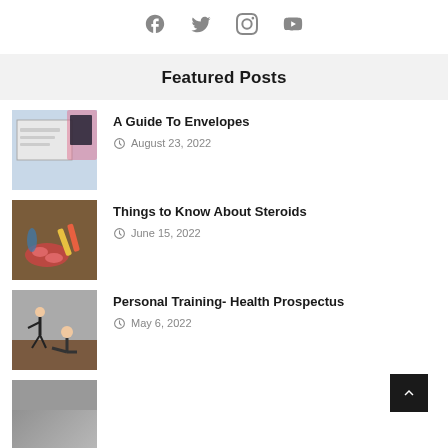Social media icons: Facebook, Twitter, Instagram, YouTube
Featured Posts
A Guide To Envelopes — August 23, 2022
Things to Know About Steroids — June 15, 2022
Personal Training- Health Prospectus — May 6, 2022
(partial fourth post)